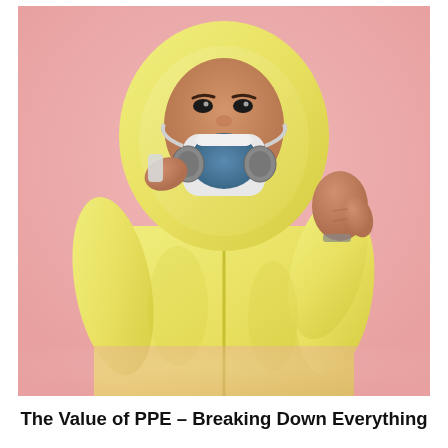[Figure (photo): A person wearing a full yellow hazmat/protective suit with hood and a blue dual-cartridge respirator mask, giving a thumbs up with one hand while adjusting the mask with the other. The background is a soft pink/rose gradient.]
The Value of PPE – Breaking Down Everything